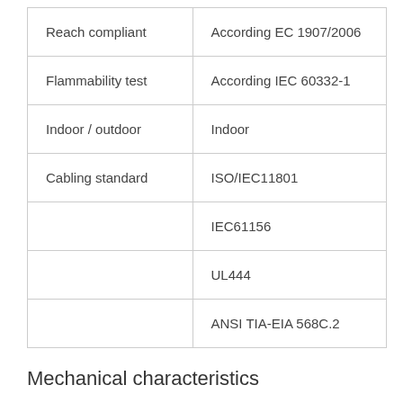| Reach compliant | According EC 1907/2006 |
| Flammability test | According IEC 60332-1 |
| Indoor / outdoor | Indoor |
| Cabling standard | ISO/IEC11801 |
|  | IEC61156 |
|  | UL444 |
|  | ANSI TIA-EIA 568C.2 |
Mechanical characteristics